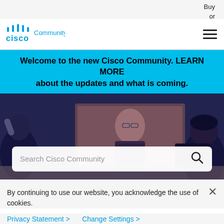Buy
or
[Figure (logo): Cisco Community logo with blue Cisco wordmark and 'Community' text beside it, plus hamburger menu icon on right]
Welcome to the new Cisco Community. LEARN MORE about the updates and what is coming.
[Figure (photo): Photo of office workers in a video conference meeting, with a woman visible on a large screen display]
Search Cisco Community
By continuing to use our website, you acknowledge the use of cookies.
Privacy Statement > Change Settings >